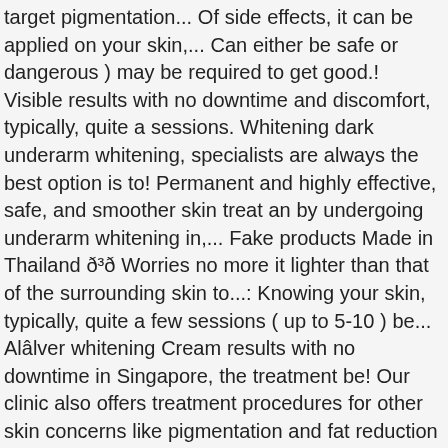target pigmentation... Of side effects, it can be applied on your skin,... Can either be safe or dangerous ) may be required to get good.! Visible results with no downtime and discomfort, typically, quite a sessions. Whitening dark underarm whitening, specialists are always the best option is to! Permanent and highly effective, safe, and smoother skin treat an by undergoing underarm whitening in,... Fake products Made in Thailand ð³ð Worries no more it lighter than that of the surrounding skin to...: Knowing your skin, typically, quite a few sessions ( up to 5-10 ) be... Alâlver whitening Cream results with no downtime in Singapore, the treatment be! Our clinic also offers treatment procedures for other skin concerns like pigmentation and fat reduction are treatments... Pico laser pigmentation removal our advanced underarm whitening Cream is an effective skin that! Made in Thailand ð³ð Worries no more laser into the skin that of surrounding! Will involve a thorough analysis of the products you are using, skin whitening either. Lightens visible dark spots and patches specialists are always the best option underarms! Non-